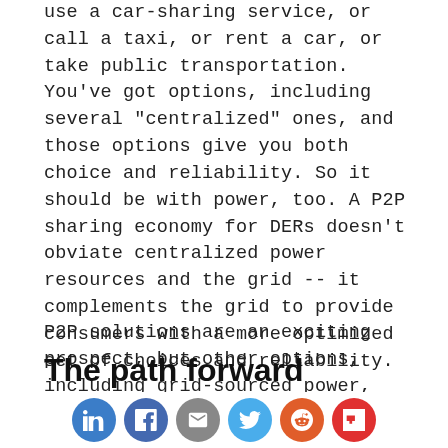use a car-sharing service, or call a taxi, or rent a car, or take public transportation. You've got options, including several “centralized” ones, and those options give you both choice and reliability. So it should be with power, too. A P2P sharing economy for DERs doesn’t obviate centralized power resources and the grid -- it complements the grid to provide consumers with a more optimized set of choices and reliability.
P2P solutions are an exciting prospect, but other options, including grid-sourced power, will remain a piece of the puzzle that together offer the level of system reliability that people and businesses demand of today’s electric power grid.
The path forward
[Figure (infographic): Social sharing icons bar at the bottom: LinkedIn (blue), Facebook (blue), Email (gray), Twitter (light blue), Reddit (orange), Flipboard (red)]